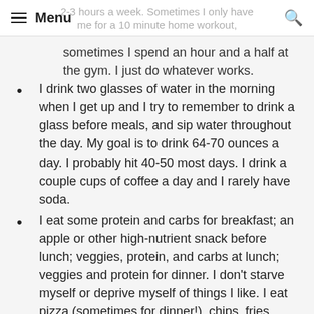Menu | Search
2-3 hours a week. Sometimes I only have time for a 10 minute home workout, sometimes I spend an hour and a half at the gym. I just do whatever works.
I drink two glasses of water in the morning when I get up and I try to remember to drink a glass before meals, and sip water throughout the day. My goal is to drink 64-70 ounces a day. I probably hit 40-50 most days. I drink a couple cups of coffee a day and I rarely have soda.
I eat some protein and carbs for breakfast; an apple or other high-nutrient snack before lunch; veggies, protein, and carbs at lunch; veggies and protein for dinner. I don't starve myself or deprive myself of things I like. I eat pizza (sometimes for dinner!), chips, fries, donuts, cookies,